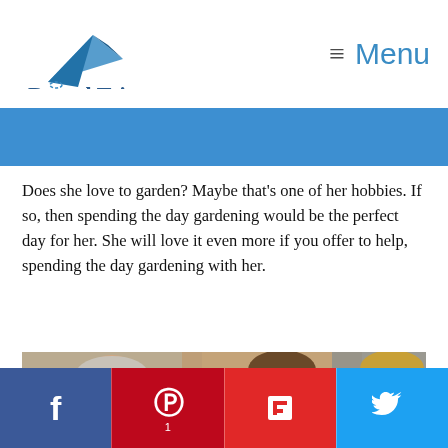[Figure (logo): Round Trip logo with paper airplane icon and text 'Round Trip']
Menu
[Figure (other): Blue horizontal banner strip]
Does she love to garden? Maybe that's one of her hobbies. If so, then spending the day gardening would be the perfect day for her. She will love it even more if you offer to help, spending the day gardening with her.
[Figure (photo): Three people (elderly man, woman, and child) looking down at something, possibly gardening or a craft activity]
[Figure (other): Social sharing bar with Facebook, Pinterest, Flipboard, and Twitter buttons]